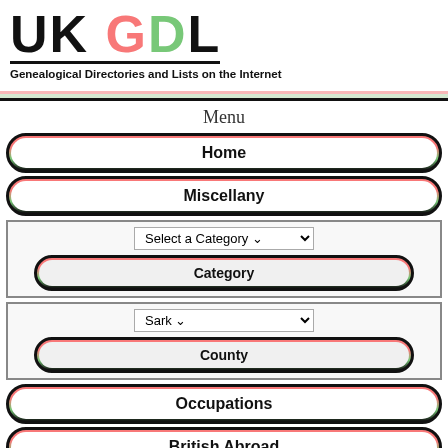[Figure (logo): UK GDL logo with red G, green D, black UK and L, underline, subtitle 'Genealogical Directories and Lists on the Internet']
Menu
Home
Miscellany
Category (with Select a Category dropdown)
County (with Sark dropdown)
Occupations
British Abroad